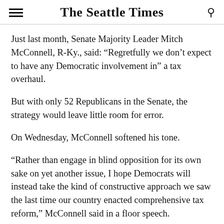The Seattle Times
Just last month, Senate Majority Leader Mitch McConnell, R-Ky., said: “Regretfully we don’t expect to have any Democratic involvement in” a tax overhaul.
But with only 52 Republicans in the Senate, the strategy would leave little room for error.
On Wednesday, McConnell softened his tone.
“Rather than engage in blind opposition for its own sake on yet another issue, I hope Democrats will instead take the kind of constructive approach we saw the last time our country enacted comprehensive tax reform,” McConnell said in a floor speech.